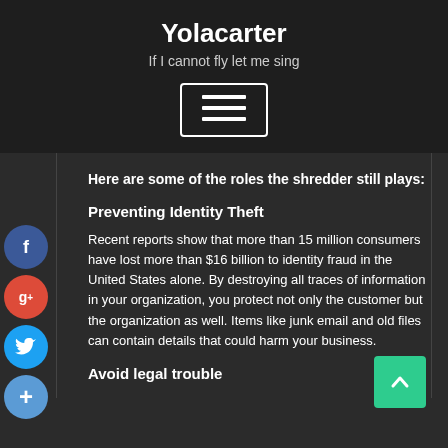Yolacarter
If I cannot fly let me sing
[Figure (other): Hamburger menu button icon with three horizontal lines inside a rectangular border]
Here are some of the roles the shredder still plays:
Preventing Identity Theft
Recent reports show that more than 15 million consumers have lost more than $16 billion to identity fraud in the United States alone. By destroying all traces of information in your organization, you protect not only the customer but the organization as well. Items like junk email and old files can contain details that could harm your business.
Avoid legal trouble